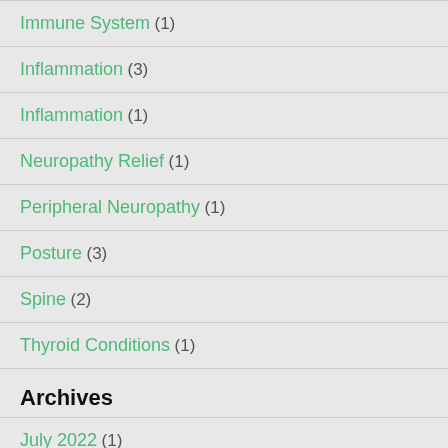Immune System (1)
Inflammation (3)
Inflammation (1)
Neuropathy Relief (1)
Peripheral Neuropathy (1)
Posture (3)
Spine (2)
Thyroid Conditions (1)
Archives
July 2022 (1)
June 2022 (1)